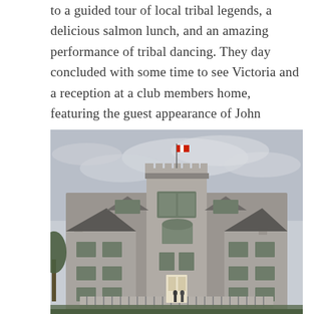to a guided tour of local tribal legends, a delicious salmon lunch, and an amazing performance of tribal dancing. They day concluded with some time to see Victoria and a reception at a club members home, featuring the guest appearance of John Lennon's Rolls-Royce Phantom V.
[Figure (photo): Photograph of a large stone castle-like mansion with a central tower flying a red and white flag, multiple chimneys, Tudor-style wings, and a balustraded terrace in front, taken on an overcast day.]